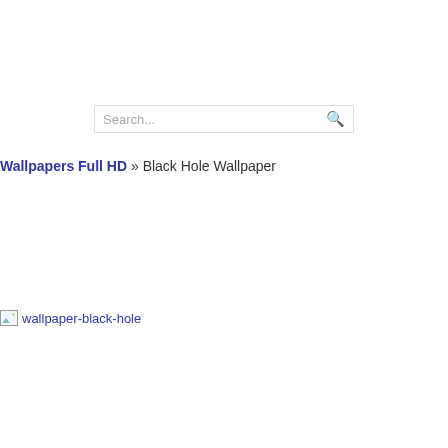Search...
Wallpapers Full HD » Black Hole Wallpaper
[Figure (other): Broken image placeholder labeled wallpaper-black-hole]